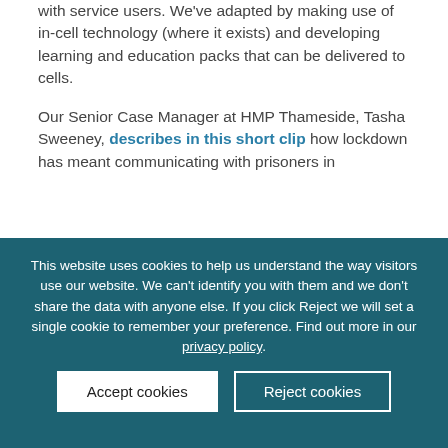with service users. We've adapted by making use of in-cell technology (where it exists) and developing learning and education packs that can be delivered to cells.
Our Senior Case Manager at HMP Thameside, Tasha Sweeney, describes in this short clip how lockdown has meant communicating with prisoners in
This website uses cookies to help us understand the way visitors use our website. We can't identify you with them and we don't share the data with anyone else. If you click Reject we will set a single cookie to remember your preference. Find out more in our privacy policy.